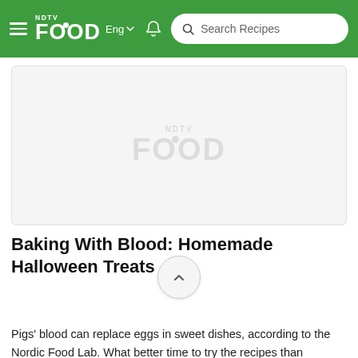NDTV Food – Search Recipes
[Figure (photo): Placeholder image area with NDTV Food watermark logo centered on a light grey background]
Baking With Blood: Homemade Halloween Treats
Pigs' blood can replace eggs in sweet dishes, according to the Nordic Food Lab. What better time to try the recipes than Halloween?There is an amazing amount of Halloween shizzle in the shops right now. Mr Kipling's Fiendish Fancies and McVitie's